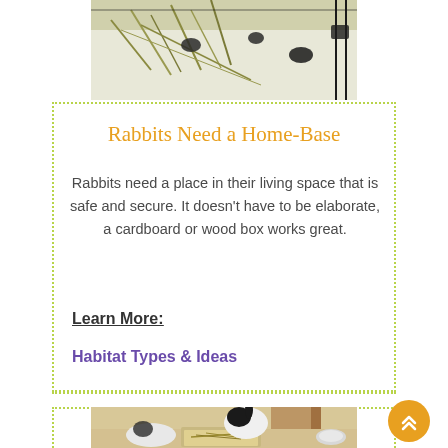[Figure (photo): Top-down view of rabbit habitat with hay/grass and dark objects on white surface]
Rabbits Need a Home-Base
Rabbits need a place in their living space that is safe and secure. It doesn't have to be elaborate, a cardboard or wood box works great.
Learn More:
Habitat Types & Ideas
[Figure (photo): Two black and white rabbits near a litter box with hay in a home setting]